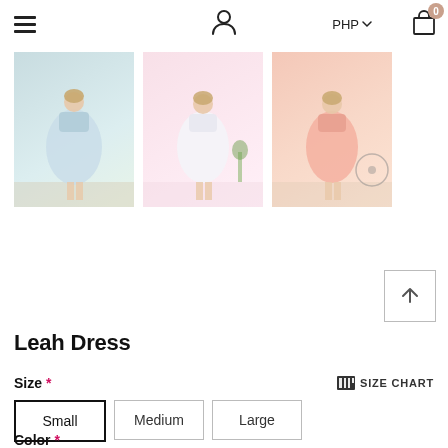≡  👤  PHP ∨  🛒 0
[Figure (photo): Three product thumbnail photos of the Leah Dress: first in light blue, second in white/pink background, third in pink/salmon color]
[Figure (other): Back to top button with upward caret arrow]
Leah Dress
Size *
SIZE CHART
Small (selected)
Medium
Large
Color *